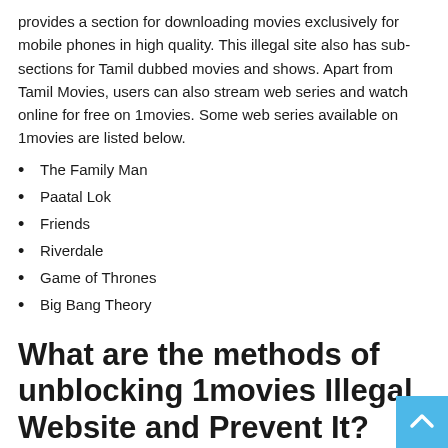provides a section for downloading movies exclusively for mobile phones in high quality. This illegal site also has sub-sections for Tamil dubbed movies and shows. Apart from Tamil Movies, users can also stream web series and watch online for free on 1movies. Some web series available on 1movies are listed below.
The Family Man
Paatal Lok
Friends
Riverdale
Game of Thrones
Big Bang Theory
What are the methods of unblocking 1movies Illegal Website and Prevent It?